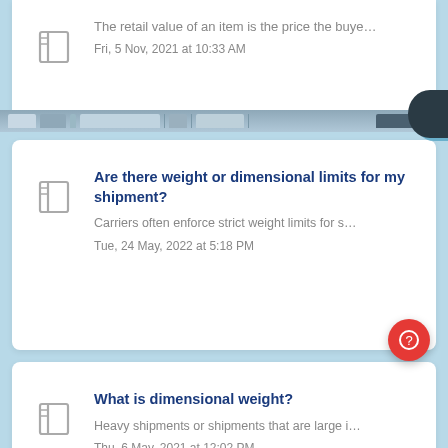The retail value of an item is the price the buye...
Fri, 5 Nov, 2021 at 10:33 AM
Are there weight or dimensional limits for my shipment?
Carriers often enforce strict weight limits for s...
Tue, 24 May, 2022 at 5:18 PM
What is dimensional weight?
Heavy shipments or shipments that are large i...
Thu, 6 May, 2021 at 12:02 PM